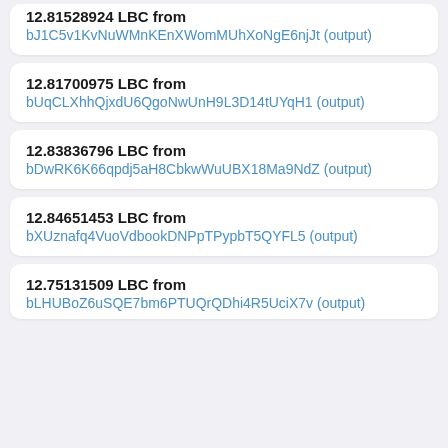12.81528924 LBC from bJ1C5v1KvNuWMnKEnXWomMUhXoNgE6njJt (output)
12.81700975 LBC from bUqCLXhhQjxdU6QgoNwUnH9L3D14tUYqH1 (output)
12.83836796 LBC from bDwRK6K66qpdj5aH8CbkwWuUBX18Ma9NdZ (output)
12.84651453 LBC from bXUznafq4VuoVdbookDNPpTPypbT5QYFL5 (output)
12.75131509 LBC from bLHUBoZ6uSQE7bm6PTUQrQDhi4R5UciX7v (output)